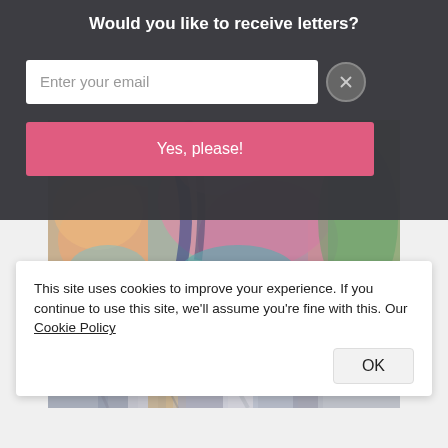Would you like to receive letters?
Enter your email
Yes, please!
[Figure (photo): Abstract colorful painting with pink, blue, green, and orange paint strokes on textured surface]
[Figure (photo): Abstract painting with grey and blue tones, vertical strokes]
This site uses cookies to improve your experience. If you continue to use this site, we'll assume you're fine with this. Our Cookie Policy
OK